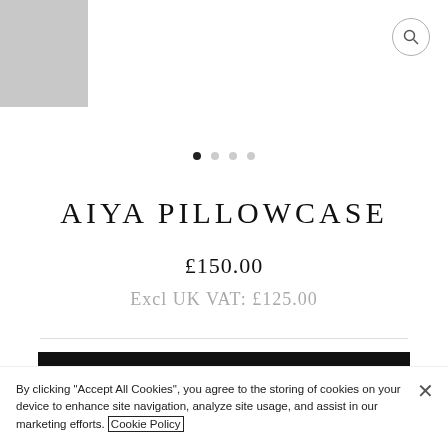[Figure (photo): Product image thumbnail, gray placeholder]
AIYA PILLOWCASE
£150.00
Excl UK VAT: £125.00
ADD TO CART
Share   Tweet   Pin it
By clicking "Accept All Cookies", you agree to the storing of cookies on your device to enhance site navigation, analyze site usage, and assist in our marketing efforts. Cookie Policy